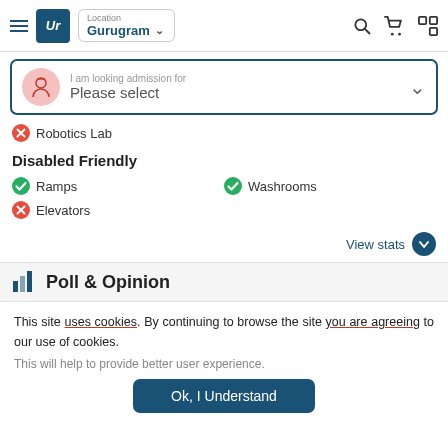UR | Location: Gurugram
[Figure (screenshot): Search bar: I am looking admission for Please select]
Robotics Lab (cross/unavailable)
Disabled Friendly
Ramps (check/available)
Washrooms (check/available)
Elevators (cross/unavailable)
View stats
Poll & Opinion
This site uses cookies. By continuing to browse the site you are agreeing to our use of cookies.
This will help to provide better user experience.
Ok, I Understand